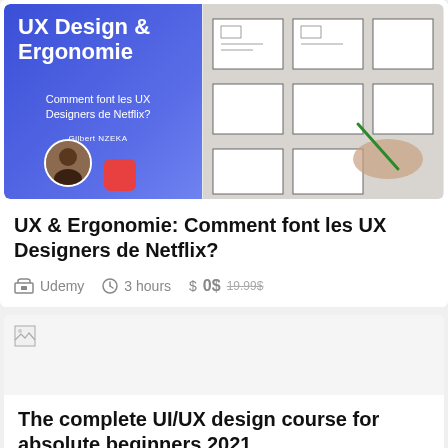[Figure (photo): Course thumbnail for UX & Ergonomie showing a blue gradient banner with white text and a hand drawing wireframes on paper]
UX & Ergonomie: Comment font les UX Designers de Netflix?
Udemy   3 hours   $ 0$  19.99$
[Figure (photo): Broken image placeholder for second course thumbnail]
The complete UI/UX design course for absolute beginners 2021